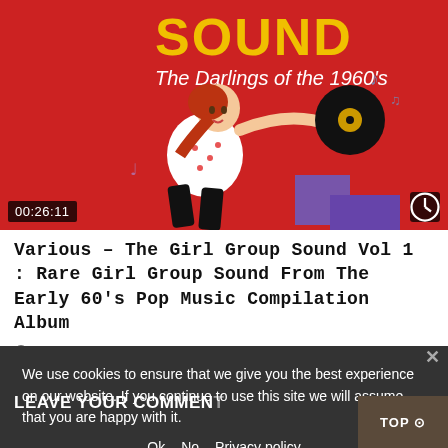[Figure (illustration): Album cover thumbnail for 'The Girl Group Sound Vol 1: The Darlings of the 1960s' — red background with cartoon illustration of a girl with ponytail holding a vinyl record, with musical notes. Yellow text 'SOUND' and white subtitle 'The Darlings of the 1960s'. Timestamp 00:26:11 in bottom left, clock icon bottom right.]
Various – The Girl Group Sound Vol 1 : Rare Girl Group Sound From The Early 60's Pop Music Compilation Album
SUNNYBOY66   2 YEARS AGO
0   715
We use cookies to ensure that we give you the best experience on our website. If you continue to use this site we will assume that you are happy with it.
Ok   No   Privacy policy
LEAVE YOUR COMMENT